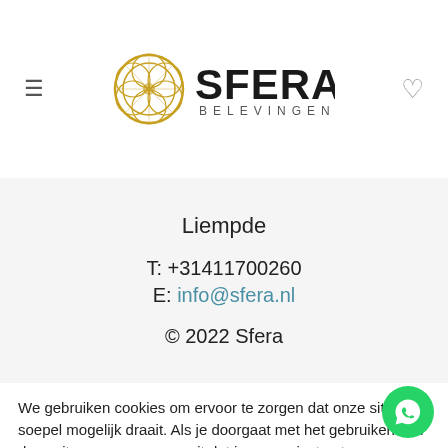[Figure (logo): Sfera Belevingen logo with golden geometric circle and SFERA BELEVINGEN text]
Liempde
T: +31411700260
E: info@sfera.nl
© 2022 Sfera
We gebruiken cookies om ervoor te zorgen dat onze site zo soepel mogelijk draait. Als je doorgaat met het gebruiken van deze site, gaan we er vanuit dat je ermee instemt.
.
Instellingen
Accepteren